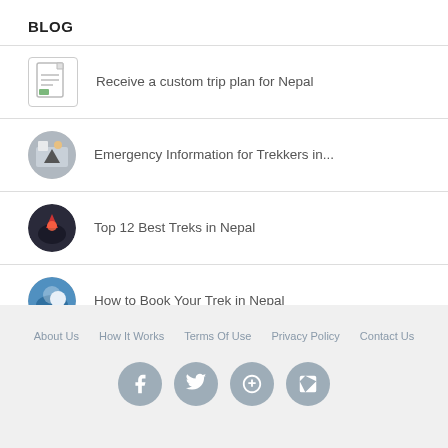BLOG
Receive a custom trip plan for Nepal
Emergency Information for Trekkers in...
Top 12 Best Treks in Nepal
How to Book Your Trek in Nepal
How to Hire a Guide in Nepal
About Us  How It Works  Terms Of Use  Privacy Policy  Contact Us